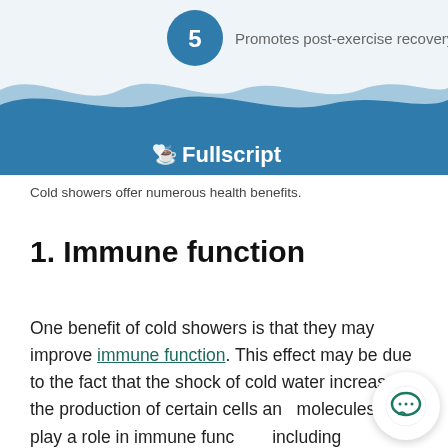[Figure (infographic): Infographic showing item 5: 'Promotes post-exercise recovery' with a blue circle containing the number 5, wavy blue banner at the bottom with Fullscript logo and text]
Cold showers offer numerous health benefits.
1. Immune function
One benefit of cold showers is that they may improve immune function. This effect may be due to the fact that the shock of cold water increases the production of certain cells and molecules that play a role in immune function, including leukocytes, granulocytes, interleukin-6